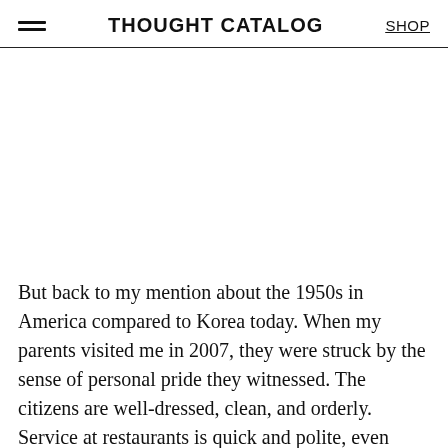THOUGHT CATALOG
But back to my mention about the 1950s in America compared to Korea today. When my parents visited me in 2007, they were struck by the sense of personal pride they witnessed. The citizens are well-dressed, clean, and orderly. Service at restaurants is quick and polite, even without a tipping system. My mother and father were both born in the early '50s and the people of Korea made an impression on them that would last at length. When I visited them in